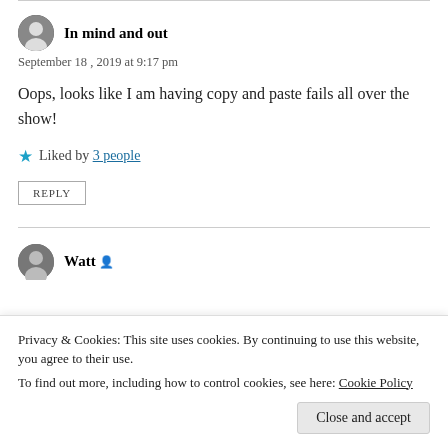[Figure (illustration): Avatar photo of commenter 'In mind and out' - circular grayscale portrait]
In mind and out
September 18, 2019 at 9:17 pm
Oops, looks like I am having copy and paste fails all over the show!
★ Liked by 3 people
REPLY
[Figure (illustration): Avatar photo of commenter 'Watt' - circular grayscale portrait]
Watt
Privacy & Cookies: This site uses cookies. By continuing to use this website, you agree to their use.
To find out more, including how to control cookies, see here: Cookie Policy
Close and accept